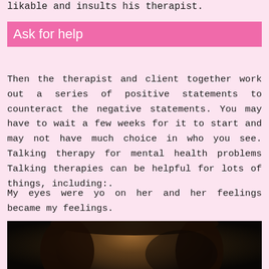likable and insults his therapist.
Ask for help
Then the therapist and client together work out a series of positive statements to counteract the negative statements. You may have to wait a few weeks for it to start and may not have much choice in who you see. Talking therapy for mental health problems Talking therapies can be helpful for lots of things, including:.
My eyes were yo on her and her feelings became my feelings.
[Figure (photo): Close-up portrait photo of a woman with brown hair, looking at the camera, with dramatic low-key lighting against a dark background.]